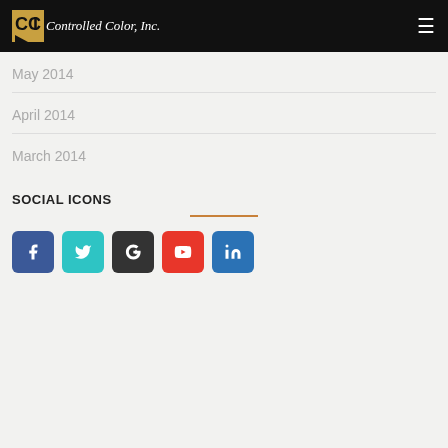Controlled Color, Inc.
May 2014
April 2014
March 2014
SOCIAL ICONS
[Figure (infographic): Five social media icon buttons: Facebook (blue), Twitter (teal), Google+ (dark), YouTube (red), LinkedIn (blue)]